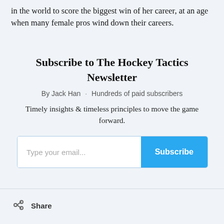in the world to score the biggest win of her career, at an age when many female pros wind down their careers.
Subscribe to The Hockey Tactics Newsletter
By Jack Han · Hundreds of paid subscribers
Timely insights & timeless principles to move the game forward.
[Figure (other): Email subscription form with text input field labeled 'Type your email...' and a blue 'Subscribe' button]
Share